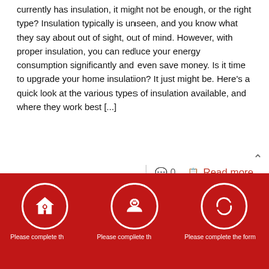currently has insulation, it might not be enough, or the right type? Insulation typically is unseen, and you know what they say about out of sight, out of mind. However, with proper insulation, you can reduce your energy consumption significantly and even save money. Is it time to upgrade your home insulation? It just might be. Here’s a quick look at the various types of insulation available, and where they work best [...]
○ 0  ✪ Read more
How Can Home Insulation in These
[Figure (infographic): Red footer bar with three circular white-bordered icons on red background: a house with gear icon, a hands-holding-gear icon, and a refresh/recycle arrows icon. Below each icon is truncated text 'Please complete th...' Three icons in circles side by side.]